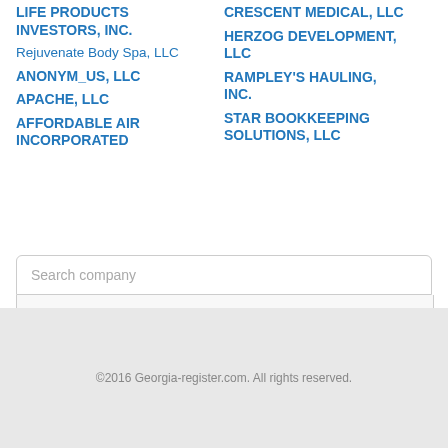LIFE PRODUCTS INVESTORS, INC.
CRESCENT MEDICAL, LLC
Rejuvenate Body Spa, LLC
HERZOG DEVELOPMENT, LLC
ANONYM_US, LLC
RAMPLEY'S HAULING, INC.
APACHE, LLC
STAR BOOKKEEPING SOLUTIONS, LLC
AFFORDABLE AIR INCORPORATED
©2016 Georgia-register.com. All rights reserved.